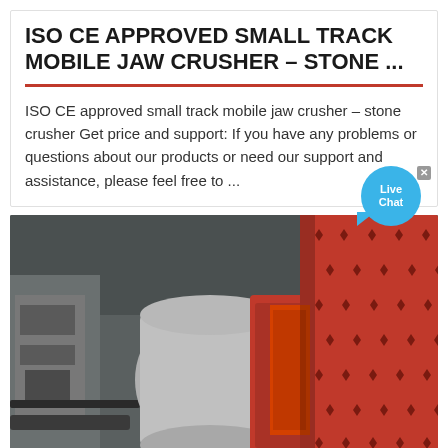ISO CE APPROVED SMALL TRACK MOBILE JAW CRUSHER – STONE ...
ISO CE approved small track mobile jaw crusher – stone crusher Get price and support: If you have any problems or questions about our products or need our support and assistance, please feel free to ...
[Figure (photo): Industrial ball mill / crushing machine with red cylindrical studded drum and connected motor unit inside an industrial facility]